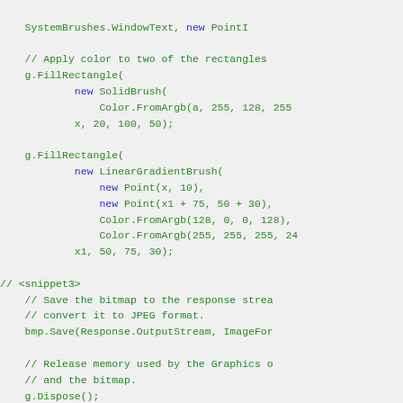Code snippet showing C# graphics drawing methods including FillRectangle with SolidBrush and LinearGradientBrush, bitmap save, and dispose calls.